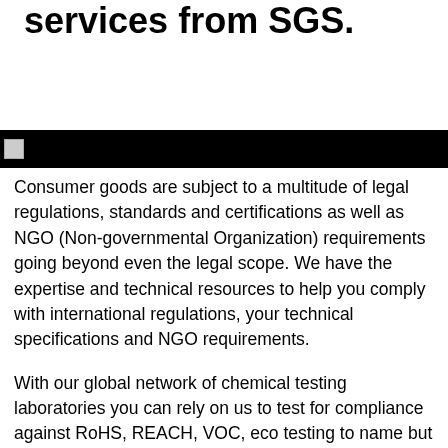services from SGS.
[Figure (photo): Black banner bar with a small image thumbnail on the left side]
Consumer goods are subject to a multitude of legal regulations, standards and certifications as well as NGO (Non-governmental Organization) requirements going beyond even the legal scope. We have the expertise and technical resources to help you comply with international regulations, your technical specifications and NGO requirements.
With our global network of chemical testing laboratories you can rely on us to test for compliance against RoHS, REACH, VOC, eco testing to name but a few. We also conduct heavy metals analysis. We will design a program of testing to meet your requirements. All services are available individually or as part of a tailor made package.